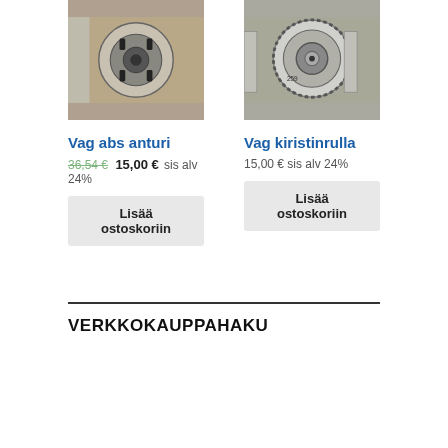[Figure (photo): Photo of a VAG ABS sensor part, circular motor component with black connectors, viewed from above on a brown background]
[Figure (photo): Photo of a VAG tensioner roller, circular metallic pulley/gear component, viewed from above]
Vag abs anturi
Vag kiristinrulla
36,54 € 15,00 € sis alv 24%
15,00 € sis alv 24%
Lisää ostoskoriin
Lisää ostoskoriin
VERKKOKAUPPAHAKU